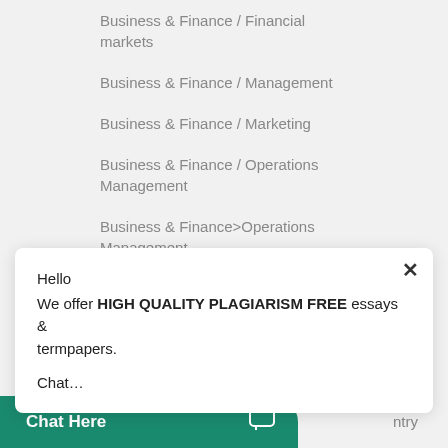Business & Finance / Financial markets
Business & Finance / Management
Business & Finance / Marketing
Business & Finance / Operations Management
Business & Finance>Operations Management
Hello
We offer HIGH QUALITY PLAGIARISM FREE essays & termpapers.

Chat...
Chat Here
neering
ntry